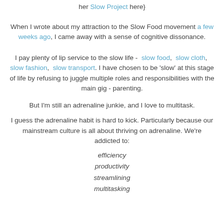her Slow Project here}
When I wrote about my attraction to the Slow Food movement a few weeks ago, I came away with a sense of cognitive dissonance.
I pay plenty of lip service to the slow life -  slow food,  slow cloth,  slow fashion,  slow transport. I have chosen to be 'slow' at this stage of life by refusing to juggle multiple roles and responsibilities with the main gig - parenting.
But I'm still an adrenaline junkie, and I love to multitask.
I guess the adrenaline habit is hard to kick. Particularly because our mainstream culture is all about thriving on adrenaline. We're addicted to:
efficiency
productivity
streamlining
multitasking